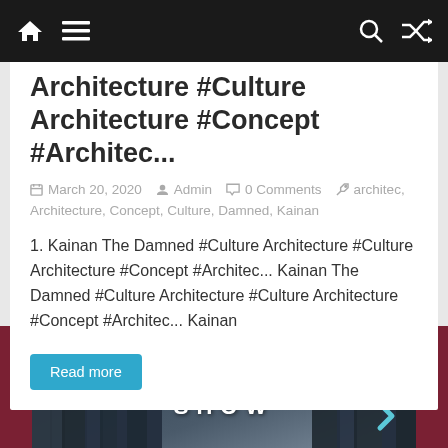Navigation bar with home, menu, search, and shuffle icons
Architecture #Culture Architecture #Concept #Architec...
March 20, 2020  Admin  0 Comments  architec, Architecture, Concept, Culture, Damned, Kainan
1. Kainan The Damned #Culture Architecture #Culture Architecture #Concept #Architec... Kainan The Damned #Culture Architecture #Culture Architecture #Concept #Architec... Kainan
Read more
[Figure (photo): Cityscape photo with skyscrapers and text overlay reading ME SHOW, with dark red side bars and a light blue chevron on the right]